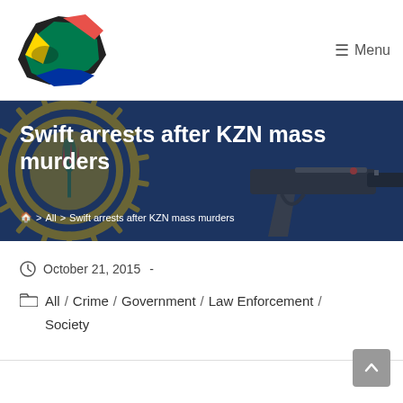[Figure (logo): South Africa map logo with flag colors]
☰ Menu
[Figure (photo): Dark blue hero banner with South Africa Police Service badge and gun image]
Swift arrests after KZN mass murders
🏠 > All > Swift arrests after KZN mass murders
October 21, 2015  -
All  /  Crime  /  Government  /  Law Enforcement  /  Society